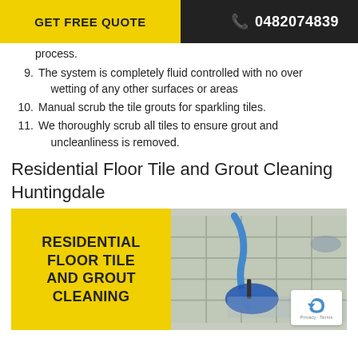GET FREE QUOTE   📞 0482074839
process.
9. The system is completely fluid controlled with no over wetting of any other surfaces or areas
10. Manual scrub the tile grouts for sparkling tiles.
11. We thoroughly scrub all tiles to ensure grout and uncleanliness is removed.
Residential Floor Tile and Grout Cleaning Huntingdale
[Figure (photo): Promotional image for residential floor tile and grout cleaning showing a floor cleaning machine on tiled floor, with yellow panel on left reading RESIDENTIAL FLOOR TILE AND GROUT CLEANING]